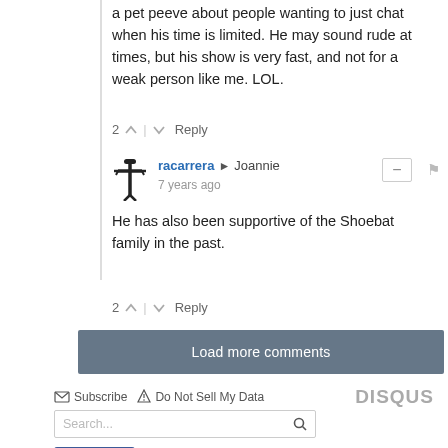a pet peeve about people wanting to just chat when his time is limited. He may sound rude at times, but his show is very fast, and not for a weak person like me. LOL.
2  |  Reply
racarrera → Joannie
7 years ago
He has also been supportive of the Shoebat family in the past.
2  |  Reply
Load more comments
Subscribe  Do Not Sell My Data  DISQUS
Search...
Like 47
Follow  20.6K followers